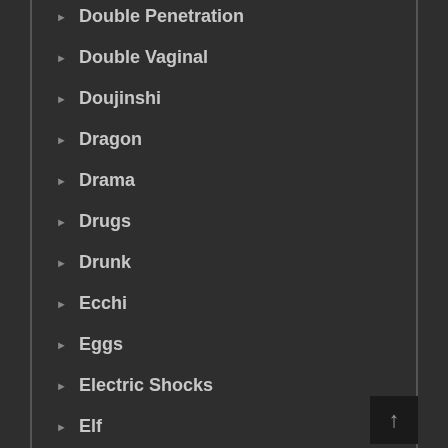Double Penetration
Double Vaginal
Doujinshi
Dragon
Drama
Drugs
Drunk
Ecchi
Eggs
Electric Shocks
Elf
Emotionless Sex